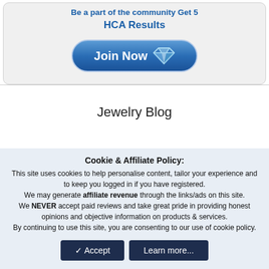Be a part of the community Get 5
HCA Results
[Figure (other): Blue gradient 'Join Now' button with diamond icon]
Jewelry Blog
Cookie & Affiliate Policy: This site uses cookies to help personalise content, tailor your experience and to keep you logged in if you have registered. We may generate affiliate revenue through the links/ads on this site. We NEVER accept paid reviews and take great pride in providing honest opinions and objective information on products & services. By continuing to use this site, you are consenting to our use of cookie policy.